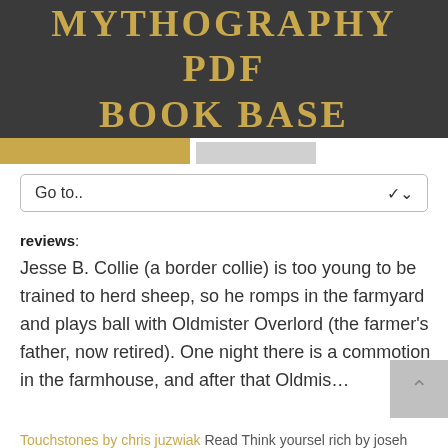MYTHOGRAPHY PDF BOOK BASE
[Figure (screenshot): Navigation tabs row with one active golden tab and one inactive grey tab]
Go to..
reviews:
Jesse B. Collie (a border collie) is too young to be trained to herd sheep, so he romps in the farmyard and plays ball with Oldmister Overlord (the farmer's father, now retired). One night there is a commotion in the farmhouse, and after that Oldmis...
Touchstones by chris juzwiak  Read Think yoursel rich by joseh